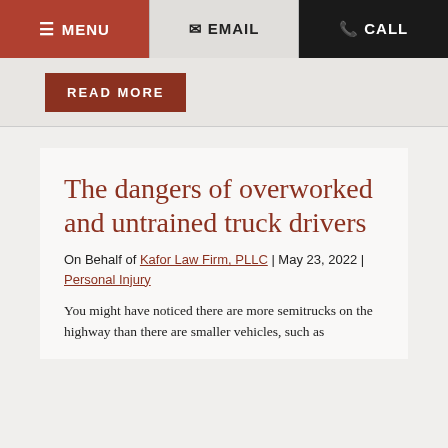≡ MENU  ✉ EMAIL  📞 CALL
READ MORE
The dangers of overworked and untrained truck drivers
On Behalf of Kafor Law Firm, PLLC | May 23, 2022 | Personal Injury
You might have noticed there are more semitrucks on the highway than there are smaller vehicles, such as